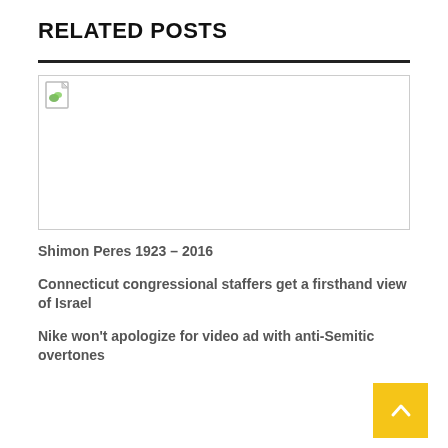RELATED POSTS
[Figure (other): Broken/missing image placeholder with a small leaf icon in the top-left corner]
Shimon Peres 1923 – 2016
Connecticut congressional staffers get a firsthand view of Israel
Nike won't apologize for video ad with anti-Semitic overtones